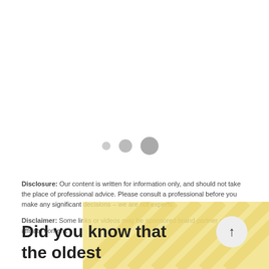[Figure (other): Three loading indicator dots of increasing size (small, medium, large) arranged horizontally, colored light gray]
Disclosure: Our content is written for information only, and should not take the place of professional advice. Please consult a professional before you make any significant decisions – we are not experts.
Disclaimer: Some links or videos may be sponsored brand partner and affiliate content.
Did you know that the oldest
[Figure (illustration): Yellow/cream colored decorative background panel on the bottom right of the page with faint diagonal watermark lines]